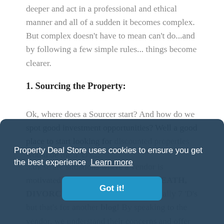simple at first glance. However, dig a little deeper and act in a professional and ethical manner and all of a sudden it becomes complex. But complex doesn't have to mean can't do...and by following a few simple rules... things become clearer.
1. Sourcing the Property:
Ok, where does a Sourcer start? And how do we spot good investment opportunities? Well a good place to start looking for discounted properties would be the 3 'D's...
...these are situations where a vendor is motivated to sell quickly because of DEATH, DIVORCEE or DEBT. There are actually 7 'D's but that's for another blog! By speaking to the vendor, we understand their concerns and offer
Property Deal Store uses cookies to ensure you get the best experience Learn more
Got it!